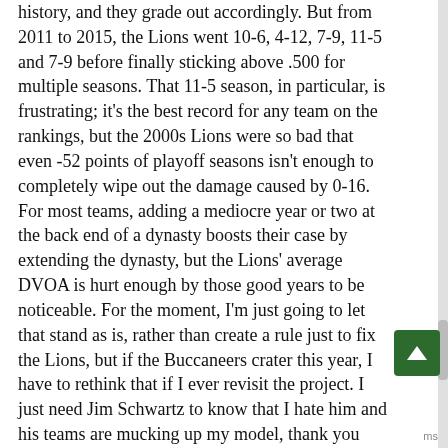history, and they grade out accordingly. But from 2011 to 2015, the Lions went 10-6, 4-12, 7-9, 11-5 and 7-9 before finally sticking above .500 for multiple seasons. That 11-5 season, in particular, is frustrating; it's the best record for any team on the rankings, but the 2000s Lions were so bad that even -52 points of playoff seasons isn't enough to completely wipe out the damage caused by 0-16. For most teams, adding a mediocre year or two at the back end of a dynasty boosts their case by extending the dynasty, but the Lions' average DVOA is hurt enough by those good years to be noticeable. For the moment, I'm just going to let that stand as is, rather than create a rule just to fix the Lions, but if the Buccaneers crater this year, I have to rethink that if I ever revisit the project. I just need Jim Schwartz to know that I hate him and his teams are mucking up my model, thank you very much.